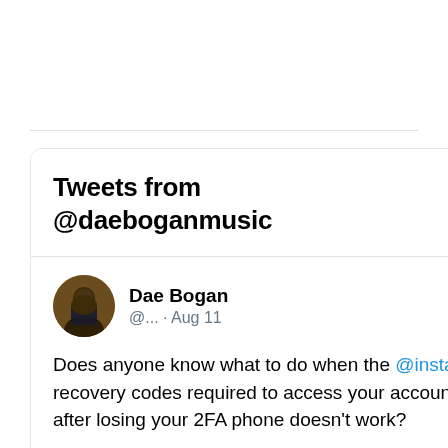[Figure (screenshot): Twitter/X widget showing tweets from @daeboganmusic with a tweet by Dae Bogan asking about Instagram 2FA recovery codes]
Tweets from @daeboganmusic
Dae Bogan @... · Aug 11
Does anyone know what to do when the @instagram recovery codes required to access your account after losing your 2FA phone doesn't work?
What's the point of turning on 2FA when it's more likely 2FA will lock you out of your own account than it is a